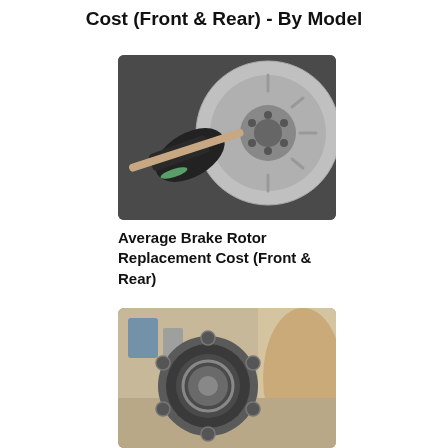Cost (Front & Rear) - By Model
[Figure (photo): A mechanic wearing black gloves working on a brake rotor, holding a tool against the rotor hub]
Average Brake Rotor Replacement Cost (Front & Rear)
[Figure (photo): A wheel hub bearing assembly on a garage floor with a car wheel visible in the background]